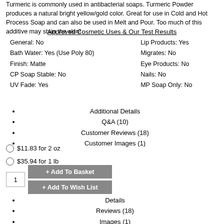Turmeric is commonly used in antibacterial soaps. Turmeric Powder produces a natural bright yellow/gold color. Great for use in Cold and Hot Process Soap and can also be used in Melt and Pour. Too much of this additive may stain the skin!
Approved Cosmetic Uses & Our Test Results
| General: No | Lip Products: Yes |
| Bath Water: Yes (Use Poly 80) | Migrates: No |
| Finish: Matte | Eye Products: No |
| CP Soap Stable: No | Nails: No |
| UV Fade: Yes | MP Soap Only: No |
Additional Details
Q&A (10)
Customer Reviews (18)
Customer Images (1)
$11.83 for 2 oz
$35.94 for 1 lb
+ Add To Basket
+ Add To Wish List
Details
Reviews (18)
Images (1)